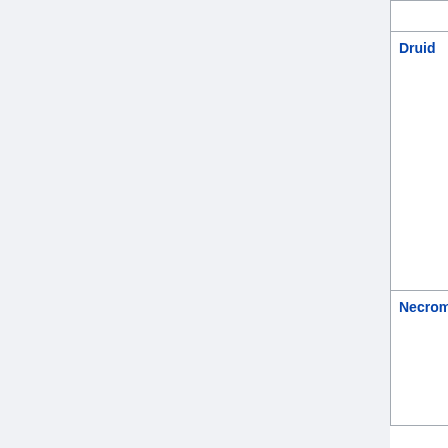| Class | Skill | Value |
| --- | --- | --- |
|  | Shadow Master 1 |  |
| Druid | Poison Creeper |  |
|  | Oak Sage |  |
|  | Spirit Wolf | [ (60 to... |
|  | Carrion Vine |  |
|  | Heart of Wolverine |  |
|  | Dire Wolf |  |
|  | Solar Creeper |  |
|  | Spirit of Barbs |  |
|  | Grizzly | [ (550 to... |
| Necromancer | Necroskeleton | 21 + (8 * Skele... |
|  | Clay Golem | [100 * (65 +... |
|  | Bone Wall |  |
|  | Necromage | 61 + (8 * Skele... |
|  |  | [201 * (100 +... |